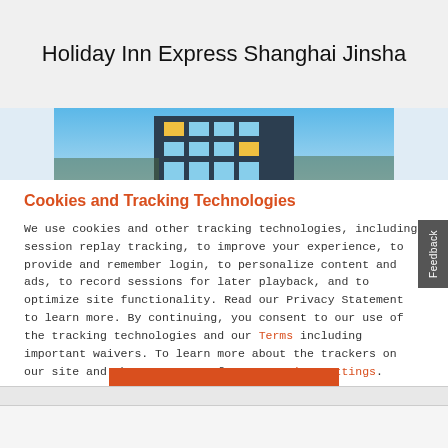Holiday Inn Express Shanghai Jinsha
[Figure (photo): Partial view of a hotel building exterior against a blue sky]
Cookies and Tracking Technologies
We use cookies and other tracking technologies, including session replay tracking, to improve your experience, to provide and remember login, to personalize content and ads, to record sessions for later playback, and to optimize site functionality. Read our Privacy Statement to learn more. By continuing, you consent to our use of the tracking technologies and our Terms including important waivers. To learn more about the trackers on our site and change your preferences, View Settings.